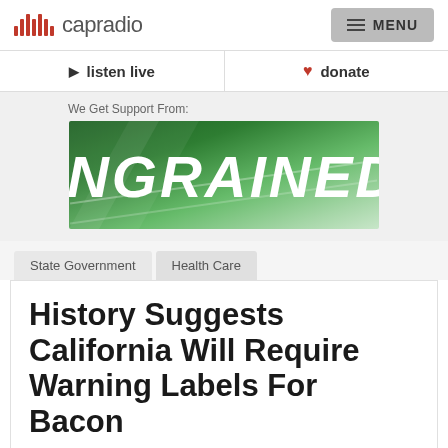capradio | MENU
listen live | donate
[Figure (illustration): INGRAINED sponsor banner — green gradient background with bold white italic text reading INGRAINED, with white diagonal stripe accents]
We Get Support From:
State Government | Health Care
History Suggests California Will Require Warning Labels For Bacon
Ben Bradford
Monday, October 26, 2015 | Sacramento, CA